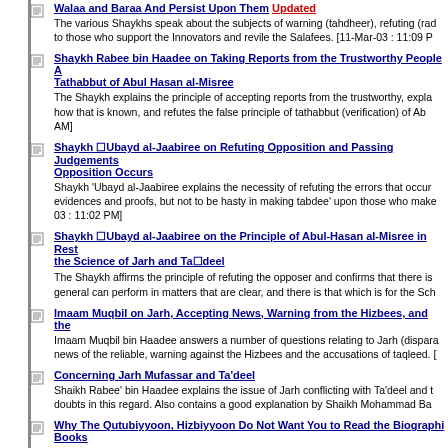Walaa and Baraa And Persist Upon Them Updated
The various Shaykhs speak about the subjects of warning (tahdheer), refuting (rad to those who support the Innovators and revile the Salafees. [11-Mar-03 : 11:09 P
Shaykh Rabee bin Haadee on Taking Reports from the Trustworthy People A Tathabbut of Abul Hasan al-Misree
The Shaykh explains the principle of accepting reports from the trustworthy, expla how that is known, and refutes the false principle of tathabbut (verification) of Ab AM]
Shaykh Ubayd al-Jaabiree on Refuting Opposition and Passing Judgements Opposition Occurs
Shaykh 'Ubayd al-Jaabiree explains the necessity of refuting the errors that occur evidences and proofs, but not to be hasty in making tabdee' upon those who make 03 : 11:02 PM]
Shaykh Ubayd al-Jaabiree on the Principle of Abul-Hasan al-Misree in Rest the Science of Jarh and Ta'deel
The Shaykh affirms the principle of refuting the opposer and confirms that there is general can perform in matters that are clear, and there is that which is for the Sch
Imaam Muqbil on Jarh, Accepting News, Warning from the Hizbees, and the
Imaam Muqbil bin Haadee answers a number of questions relating to Jarh (dispara news of the reliable, warning against the Hizbees and the accusations of taqleed. [
Concerning Jarh Mufassar and Ta'deel
Shaikh Rabee' bin Haadee explains the issue of Jarh conflicting with Ta'deel and t doubts in this regard. Also contains a good explanation by Shaikh Mohammad Ba
Why The Qutubiyyoon, Hizbiyyoon Do Not Want You to Read the Biographi Books
A matter evident to those who study the Hibiyyoon story